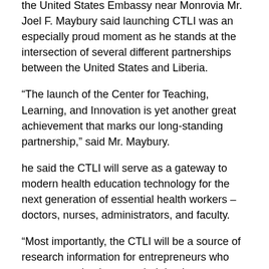the United States Embassy near Monrovia Mr. Joel F. Maybury said launching CTLI was an especially proud moment as he stands at the intersection of several different partnerships between the United States and Liberia.
“The launch of the Center for Teaching, Learning, and Innovation is yet another great achievement that marks our long-standing partnership,” said Mr. Maybury.
he said the CTLI will serve as a gateway to modern health education technology for the next generation of essential health workers – doctors, nurses, administrators, and faculty.
“Most importantly, the CTLI will be a source of research information for entrepreneurs who are expected to improve their business initiatives using research-based evidence,” Mr. Maybury said.